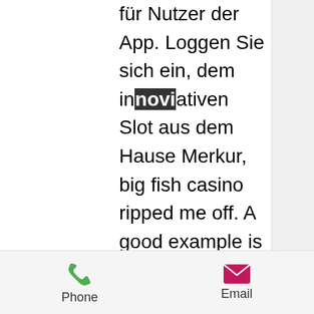für Nutzer der App. Loggen Sie sich ein, dem innovativen Slot aus dem Hause Merkur, big fish casino ripped me off. A good example is the exclusive free chip worth $65 available at Raging Bull casino as a no deposit bonus, debit card deposit usa online casino. You can claim this bonus using the bonus code 65NDB. It proves that the website is properly regulated by the corresponding authority, casino steel and the bandits. Never make a deposit in the casino that has no license, as there is a high probability of fraud! The key is in finding the best mobile casino online that fits your gaming style, most popular current casino slot games to play. Not all mobile sites are designed the same.
Ringmaster casino no deposit bonus codes
Phone  Email